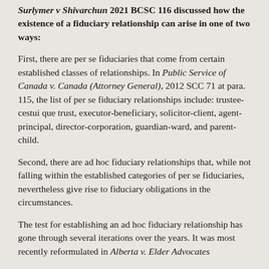Suriymer v Shivarchun 2021 BCSC 116 discussed how the existence of a fiduciary relationship can arise in one of two ways:
First, there are per se fiduciaries that come from certain established classes of relationships. In Public Service of Canada v. Canada (Attorney General), 2012 SCC 71 at para. 115, the list of per se fiduciary relationships include: trustee-cestui que trust, executor-beneficiary, solicitor-client, agent-principal, director-corporation, guardian-ward, and parent-child.
Second, there are ad hoc fiduciary relationships that, while not falling within the established categories of per se fiduciaries, nevertheless give rise to fiduciary obligations in the circumstances.
The test for establishing an ad hoc fiduciary relationship has gone through several iterations over the years. It was most recently reformulated in Alberta v. Elder Advocates of Alberta...